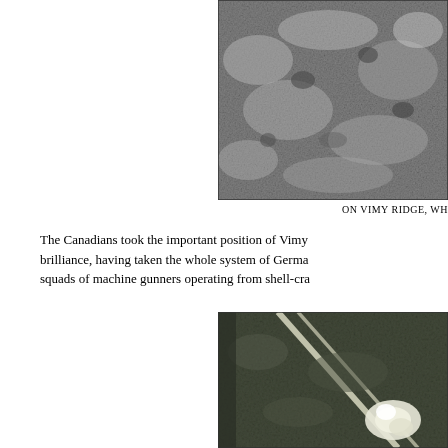[Figure (photo): Black and white aerial or ground photograph showing rocky, cratered terrain at Vimy Ridge, with patches of trees or debris visible against a mottled landscape.]
ON VIMY RIDGE, WH
The Canadians took the important position of Vimy brilliance, having taken the whole system of Germa squads of machine gunners operating from shell-cra
[Figure (photo): Black and white aerial photograph showing Vimy Ridge, with diagonal white chalk lines (trench lines or road markings) crossing a dark green hillside, and a white explosion or shell burst visible in the lower right area.]